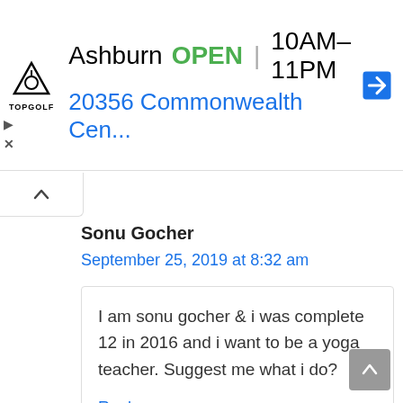[Figure (screenshot): Topgolf advertisement banner showing Ashburn location, OPEN status, hours 10AM-11PM, and address 20356 Commonwealth Cen... with navigation arrow icon]
Sonu Gocher
September 25, 2019 at 8:32 am
I am sonu gocher & i was complete 12 in 2016 and i want to be a yoga teacher. Suggest me what i do?
Reply